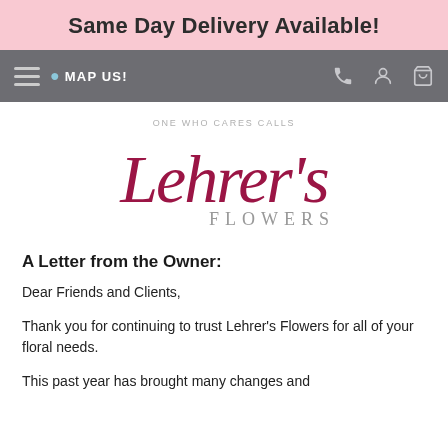Same Day Delivery Available!
[Figure (screenshot): Navigation bar with hamburger menu, MAP US! text with pin icon, and icons for phone, account, cart on gray background]
[Figure (logo): Lehrer's Flowers logo — cursive dark crimson 'Lehrer's' script above gray serif 'FLOWERS', with light gray 'ONE WHO CARES CALLS' tagline above]
A Letter from the Owner:
Dear Friends and Clients,
Thank you for continuing to trust Lehrer's Flowers for all of your floral needs.
This past year has brought many changes and